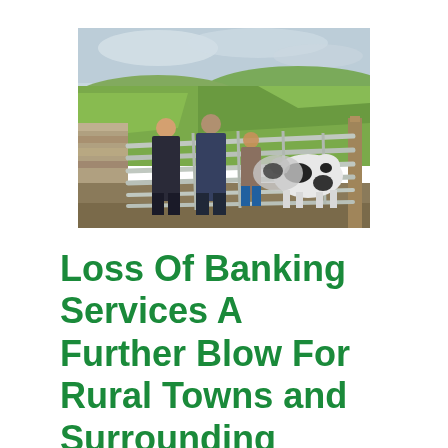[Figure (photo): Three people (two adults in dark work overalls/boots and a child in casual clothes with blue wellies) standing at a metal farm gate looking at black and white cattle in a green field, with rolling green hills and a cloudy sky in the background. Stone wall visible on the left.]
Loss Of Banking Services A Further Blow For Rural Towns and Surrounding